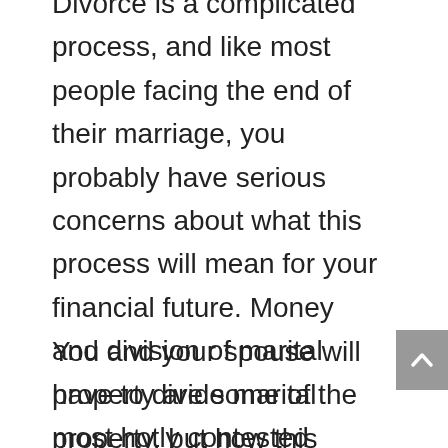Divorce is a complicated process, and like most people facing the end of their marriage, you probably have serious concerns about what this process will mean for your financial future. Money and division of marital property are some of the most hotly contested issues in a divorce, and you may feel overwhelmed just thinking about it.
You and your spouse will have to divide marital property, but how this process will actually work depends on your individual situation. If you go to court, the court and state laws will dictate what will happen to your property. If you are able to reach a settlement out of court, the terms of